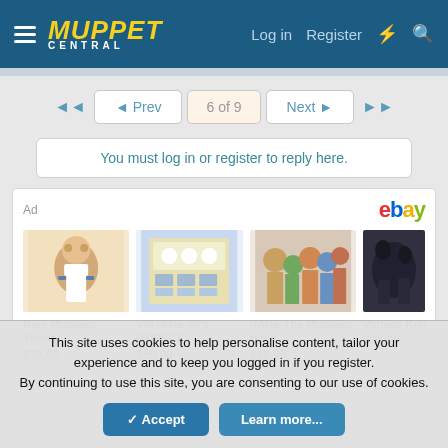Muppet Central — Log in | Register
◄ Prev  6 of 9  Next ►
You must log in or register to reply here.
[Figure (screenshot): eBay ad section with four Muppet items: Rare Muppets Vintage $39.99, VINTAGE 80's MUPPET $50.00, RARE The Muppets Hand $89.95, Vintage Knickerbo $39.00]
This site uses cookies to help personalise content, tailor your experience and to keep you logged in if you register.
By continuing to use this site, you are consenting to our use of cookies.
✓ Accept   Learn more...